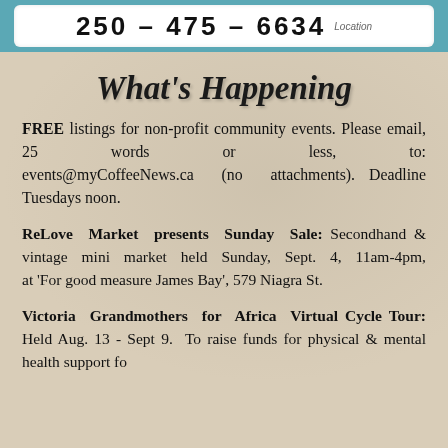[Figure (other): Top banner with phone number and location label on teal/blue background with white inner box]
What's Happening
FREE listings for non-profit community events. Please email, 25 words or less, to: events@myCoffeeNews.ca (no attachments). Deadline Tuesdays noon.
ReLove Market presents Sunday Sale: Secondhand & vintage mini market held Sunday, Sept. 4, 11am-4pm, at ‘For good measure James Bay’, 579 Niagra St.
Victoria Grandmothers for Africa Virtual Cycle Tour: Held Aug. 13 - Sept 9. To raise funds for physical & mental health support fo…